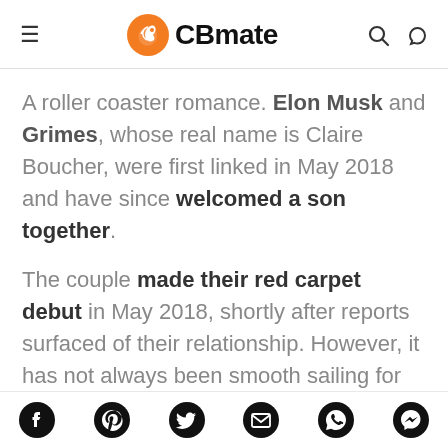CBmate
A roller coaster romance. Elon Musk and Grimes, whose real name is Claire Boucher, were first linked in May 2018 and have since welcomed a son together.
The couple made their red carpet debut in May 2018, shortly after reports surfaced of their relationship. However, it has not always been smooth sailing for the businessman and the singer. They weathered split rumors and a very public feud
Social share icons: Facebook, Pinterest, Twitter, Email, WhatsApp, Messenger